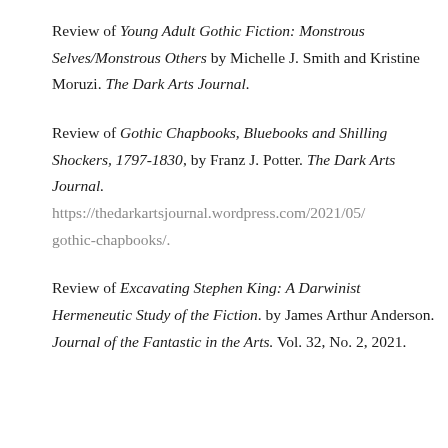Review of Young Adult Gothic Fiction: Monstrous Selves/Monstrous Others by Michelle J. Smith and Kristine Moruzi. The Dark Arts Journal.
Review of Gothic Chapbooks, Bluebooks and Shilling Shockers, 1797-1830, by Franz J. Potter. The Dark Arts Journal. https://thedarkartsjournal.wordpress.com/2021/05/gothic-chapbooks/.
Review of Excavating Stephen King: A Darwinist Hermeneutic Study of the Fiction. by James Arthur Anderson. Journal of the Fantastic in the Arts. Vol. 32, No. 2, 2021.